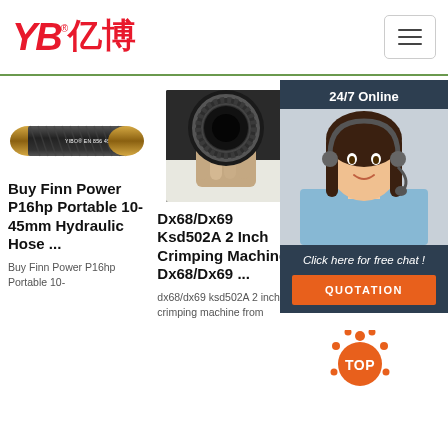[Figure (logo): YB亿博 logo in red with registered trademark symbol]
[Figure (other): Hamburger menu button top right]
[Figure (photo): Black hydraulic hose with gold/brass fittings labeled YIBO EN 856 4SH]
Buy Finn Power P16hp Portable 10-45mm Hydraulic Hose ...
Buy Finn Power P16hp Portable 10-
[Figure (photo): Close-up front view of a 2 inch crimping machine hose opening held in hand]
Dx68/Dx69 Ksd502A 2 Inch Crimping Machine, Dx68/Dx69 ...
dx68/dx69 ksd502A 2 inch crimping machine from
[Figure (photo): Partially visible product image behind chat overlay]
Ma... Cri... Manual Crimper Hose Suppliers And ...
1/8' to 2' to 4' air suspension
[Figure (other): 24/7 Online chat overlay with customer service representative photo, 'Click here for free chat!' text, QUOTATION button, and orange TOP badge]